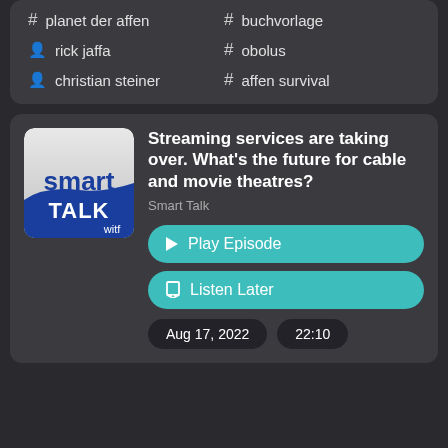# planet der affen
# buchvorlage
person rick jaffa
# obolus
person christian steiner
# affen survival
Streaming services are taking over. What's the future for cable and movie theatres?
Smart Talk
Play Episode
Listen Later
Aug 17, 2022
22:10